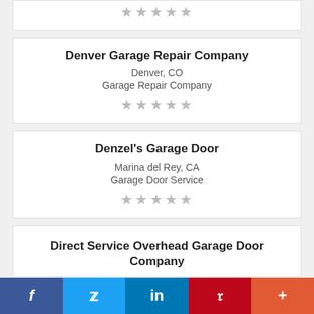★★★★★
Denver Garage Repair Company
Denver, CO
Garage Repair Company
★★★★★
Denzel's Garage Door
Marina del Rey, CA
Garage Door Service
★★★★★
Direct Service Overhead Garage Door Company
f  🐦  in  P  +